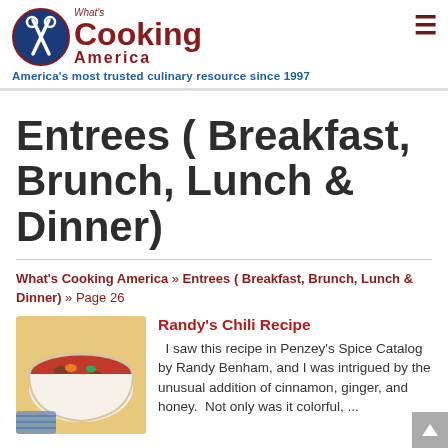What's Cooking America — America's most trusted culinary resource since 1997
Entrees ( Breakfast, Brunch, Lunch & Dinner)
What's Cooking America » Entrees ( Breakfast, Brunch, Lunch & Dinner) » Page 26
Randy's Chili Recipe
[Figure (photo): Bowl of chili with beans, vegetables in a red broth]
I saw this recipe in Penzey's Spice Catalog by Randy Benham, and I was intrigued by the unusual addition of cinnamon, ginger, and honey.  Not only was it colorful, ...